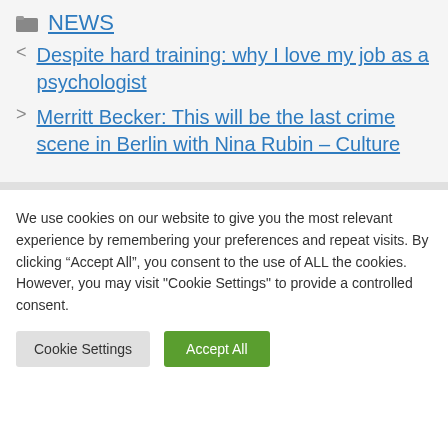NEWS
Despite hard training: why I love my job as a psychologist
Merritt Becker: This will be the last crime scene in Berlin with Nina Rubin – Culture
We use cookies on our website to give you the most relevant experience by remembering your preferences and repeat visits. By clicking “Accept All”, you consent to the use of ALL the cookies. However, you may visit "Cookie Settings" to provide a controlled consent.